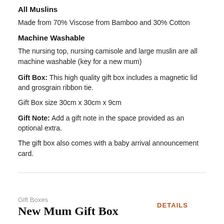All Muslins
Made from 70% Viscose from Bamboo and 30% Cotton
Machine Washable
The nursing top, nursing camisole and large muslin are all machine washable (key for a new mum)
Gift Box: This high quality gift box includes a magnetic lid and grosgrain ribbon tie.
Gift Box size 30cm x 30cm x 9cm
Gift Note: Add a gift note in the space provided as an optional extra.
The gift box also comes with a baby arrival announcement card.
Gift Boxes
New Mum Gift Box
DETAILS